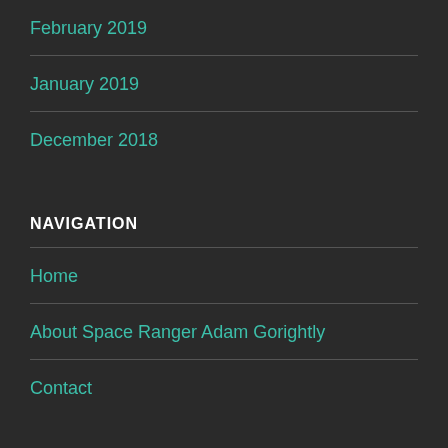February 2019
January 2019
December 2018
NAVIGATION
Home
About Space Ranger Adam Gorightly
Contact